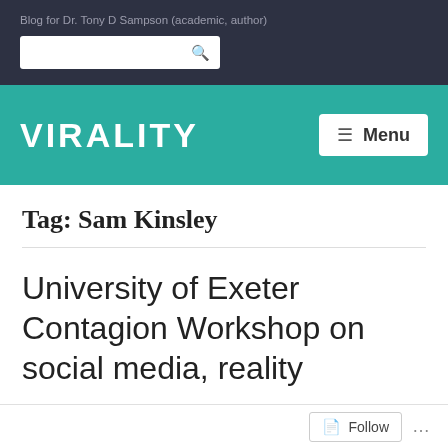Blog for Dr. Tony D Sampson (academic, author)
VIRALITY
Tag: Sam Kinsley
University of Exeter Contagion Workshop on social media, reality